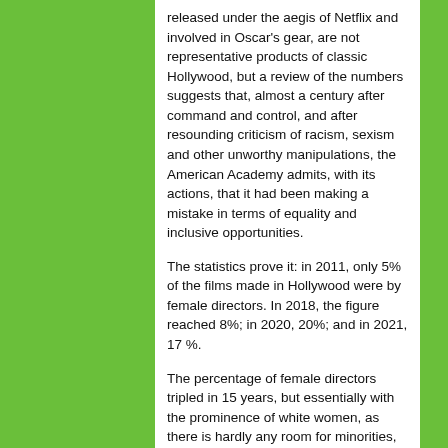released under the aegis of Netflix and involved in Oscar's gear, are not representative products of classic Hollywood, but a review of the numbers suggests that, almost a century after command and control, and after resounding criticism of racism, sexism and other unworthy manipulations, the American Academy admits, with its actions, that it had been making a mistake in terms of equality and inclusive opportunities.
The statistics prove it: in 2011, only 5% of the films made in Hollywood were by female directors. In 2018, the figure reached 8%; in 2020, 20%; and in 2021, 17 %.
The percentage of female directors tripled in 15 years, but essentially with the prominence of white women, as there is hardly any room for minorities, while Black female directors do not exceed 2%, according to reports from the University of Southern California. The report speaks of the progressive, though still insufficient, changes in mentality on the part of the big